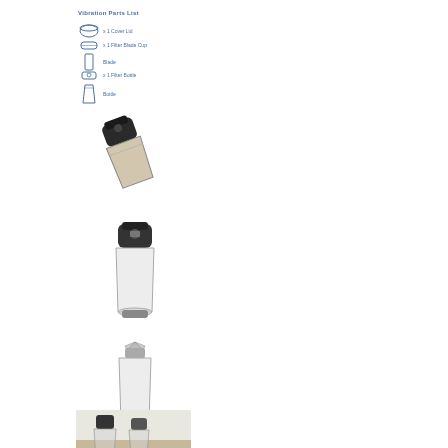Vibration Parts List
x 1 Cover Lid
x 1 Filter Blade Cup
Blade
x 1 Filter Bottle
Bottle
[Figure (photo): Product photo showing assembled blender/grinder unit with dark motor head attached to a clear/brown cup, tilted at an angle]
[Figure (photo): Product photo showing the blender/grinder unit upright with dark motor head on clear cup]
[Figure (photo): Product photo showing the blender/grinder unit with stainless steel blade assembly visible at top of clear cup]
[Figure (photo): Product photo showing two blender units side by side on a surface outdoors]
[Figure (photo): Partial product photo at bottom of page]